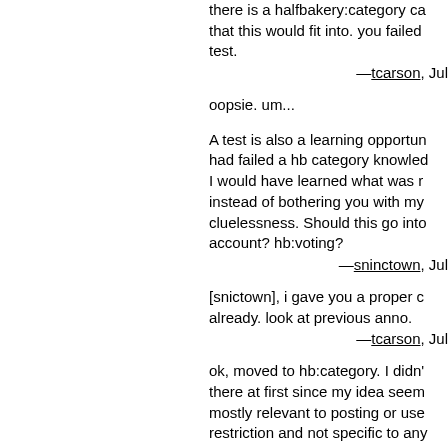there is a halfbakery:category ca... that this would fit into. you failed test.
—tcarson, Jul
oopsie. um...
A test is also a learning opportun... had failed a hb category knowled... I would have learned what was r... instead of bothering you with my cluelessness. Should this go into account? hb:voting?
—sninctown, Jul
[snictown], i gave you a proper c... already. look at previous anno.
—tcarson, Jul
ok, moved to hb:category. I didn't there at first since my idea seem mostly relevant to posting or use restriction and not specific to any category. However, I flee from th fishbones.
—sninctown, Jul